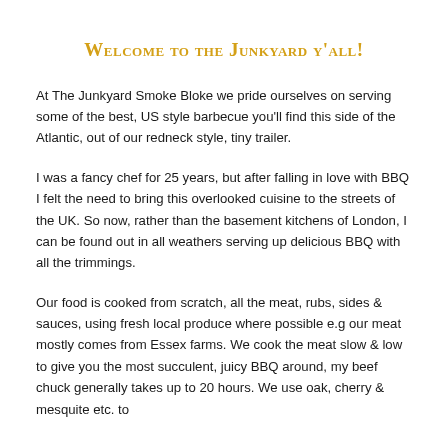Welcome to the Junkyard y'all!
At The Junkyard Smoke Bloke we pride ourselves on serving some of the best, US style barbecue you'll find this side of the Atlantic, out of our redneck style, tiny trailer.
I was a fancy chef for 25 years, but after falling in love with BBQ I felt the need to bring this overlooked cuisine to the streets of the UK. So now, rather than the basement kitchens of London, I can be found out in all weathers serving up delicious BBQ with all the trimmings.
Our food is cooked from scratch, all the meat, rubs, sides & sauces, using fresh local produce where possible e.g our meat mostly comes from Essex farms. We cook the meat slow & low to give you the most succulent, juicy BBQ around, my beef chuck generally takes up to 20 hours. We use oak, cherry & mesquite etc. to